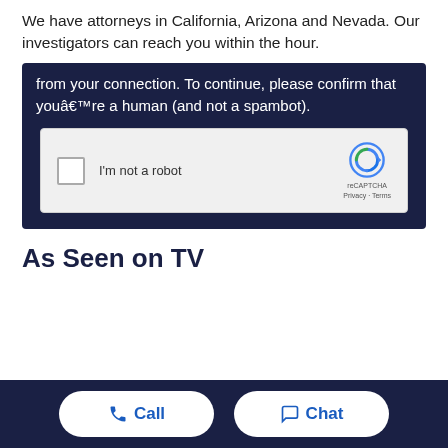We have attorneys in California, Arizona and Nevada. Our investigators can reach you within the hour.
[Figure (screenshot): Dark navy background box showing partial CAPTCHA verification message: 'from your connection. To continue, please confirm that you're a human (and not a spambot).' with reCAPTCHA widget showing checkbox labeled 'I'm not a robot' and reCAPTCHA logo with Privacy - Terms text.]
As Seen on TV
Call   Chat